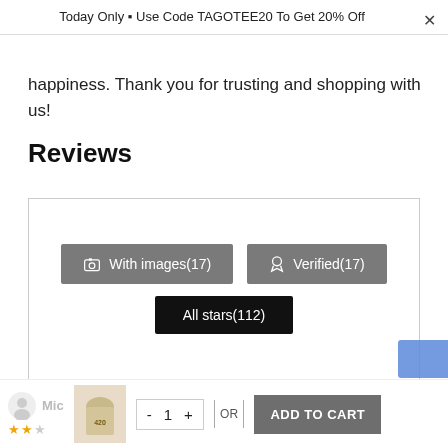Today Only 🎁 Use Code TAGOTEE20 To Get 20% Off
happiness. Thank you for trusting and shopping with us!
Reviews
[Figure (screenshot): Review filter buttons: 'With images(17)', 'Verified(17)', 'All stars(112)']
1  2  ...  10
Mic  - 1 +  OR  ADD TO CART